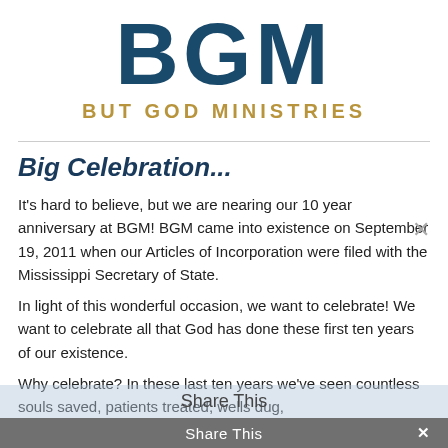[Figure (logo): BGM (But God Ministries) logo with large dark blue bold letters BGM and gold bold subtitle BUT GOD MINISTRIES]
Big Celebration...
It’s hard to believe, but we are nearing our 10 year anniversary at BGM! BGM came into existence on September 19, 2011 when our Articles of Incorporation were filed with the Mississippi Secretary of State.
In light of this wonderful occasion, we want to celebrate! We want to celebrate all that God has done these first ten years of our existence.
Why celebrate? In these last ten years we’ve seen countless souls saved, patients treated, wells dug,